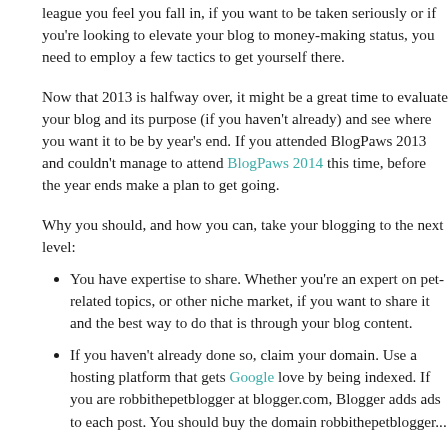league you feel you fall in, if you want to be taken seriously or if you're looking to elevate your blog to money-making status, you need to employ a few tactics to get yourself there.
Now that 2013 is halfway over, it might be a great time to evaluate your blog and its purpose (if you haven't already) and see where you want it to be by year's end. If you attended BlogPaws 2013 and couldn't manage to attend BlogPaws 2014 this time, before the year ends make a plan to get going.
Why you should, and how you can, take your blogging to the next level:
You have expertise to share. Whether you're an expert on pet-related topics, or other niche market, if you want to share it and the best way to do that is through your blog content.
If you haven't already done so, claim your domain. Use a hosting platform that gets Google love by being indexed. If you are robbithepetblogger at blogger.com, Blogger adds ads to each post. You should buy the domain robbithepetblogger...